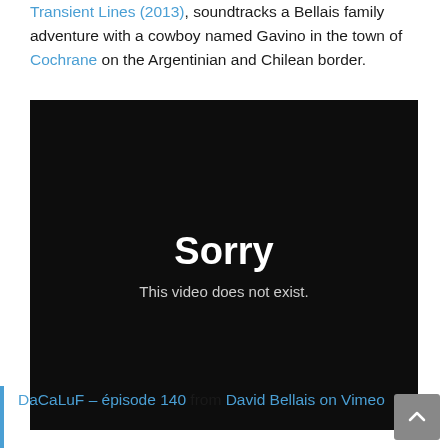Transient Lines (2013), soundtracks a Bellais family adventure with a cowboy named Gavino in the town of Cochrane on the Argentinian and Chilean border.
[Figure (screenshot): A black video embed player showing an error message: 'Sorry' in large white bold text, and below it 'This video does not exist.' in smaller white text on a dark background.]
DaCaLuF – épisode 140 from David Bellais on Vimeo